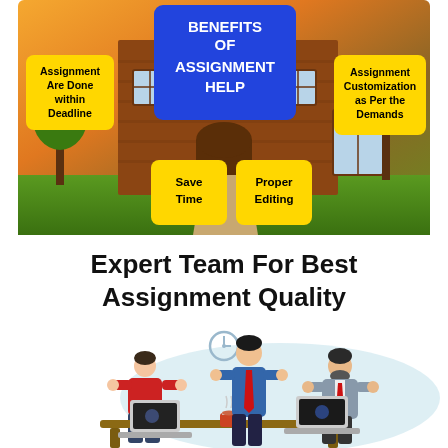[Figure (infographic): Benefits of Assignment Help infographic set against a school/university building background. Center blue box reads 'BENEFITS OF ASSIGNMENT HELP'. Yellow boxes around it: top-left 'Assignment Are Done within Deadline', top-right 'Assignment Customization as Per the Demands', bottom-left 'Save Time', bottom-right 'Proper Editing'.]
Expert Team For Best Assignment Quality
[Figure (illustration): Illustration of three professionals (two seated, one standing) working together around a desk with laptops and a coffee cup, with a light blue oval background shape and a clock icon above.]